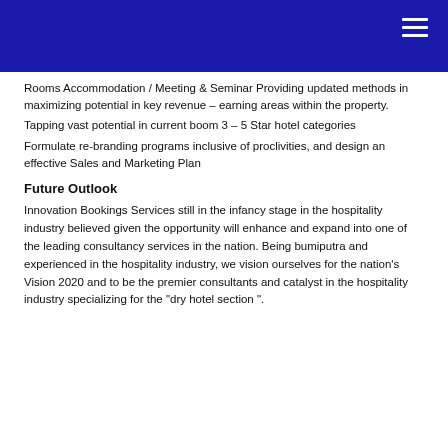Rooms Accommodation / Meeting & Seminar Providing updated methods in maximizing potential in key revenue – earning areas within the property.
Tapping vast potential in current boom 3 – 5 Star hotel categories
Formulate re-branding programs inclusive of proclivities, and design an effective Sales and Marketing Plan
Future Outlook
Innovation Bookings Services still in the infancy stage in the hospitality industry believed given the opportunity will enhance and expand into one of the leading consultancy services in the nation. Being bumiputra and experienced in the hospitality industry, we vision ourselves for the nation's Vision 2020 and to be the premier consultants and catalyst in the hospitality industry specializing for the "dry hotel section ".